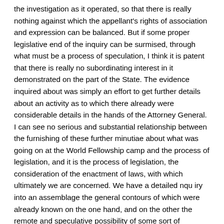the investigation as it operated, so that there is really nothing against which the appellant's rights of association and expression can be balanced. But if some proper legislative end of the inquiry can be surmised, through what must be a process of speculation, I think it is patent that there is really no subordinating interest in it demonstrated on the part of the State. The evidence inquired about was simply an effort to get further details about an activity as to which there already were considerable details in the hands of the Attorney General. I can see no serious and substantial relationship between the furnishing of these further minutiae about what was going on at the World Fellowship camp and the process of legislation, and it is the process of legislation, the consideration of the enactment of laws, with which ultimately we are concerned. We have a detailed nqu iry into an assemblage the general contours of which were already known on the one hand, and on the other the remote and speculative possibility of some sort of legislation—albeit legislation in a field where there are serious constitutional limitations. We have this in the context of an inquiry which was in practice being conducted in its overwhelming thrust as a vehicle of exposure, and where the practice had been followed of publishing names on the basis of a 'not proven' verdict. We are not asked to hold that the State cannot carry on such fact-finding at all, with or without compulsory process.